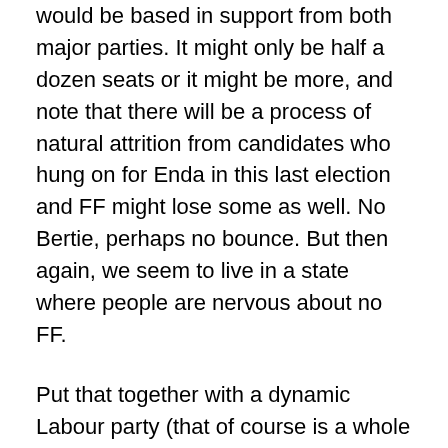would be based in support from both major parties. It might only be half a dozen seats or it might be more, and note that there will be a process of natural attrition from candidates who hung on for Enda in this last election and FF might lose some as well. No Bertie, perhaps no bounce. But then again, we seem to live in a state where people are nervous about no FF.
Put that together with a dynamic Labour party (that of course is a whole different ball game. Dynamic in what way, pitching to the middle class, or retrenching in the working class, trying to prise away FF seats or FG, or both? Straw in the wind, the rapid jettisoning of the Mullingar Accord since the new government came into office, let's see if that lasts the next five years) and the chances of them gaining an extra 10 seats are not beyond the bounds of possibility – intriguingly in 1992 DL had four